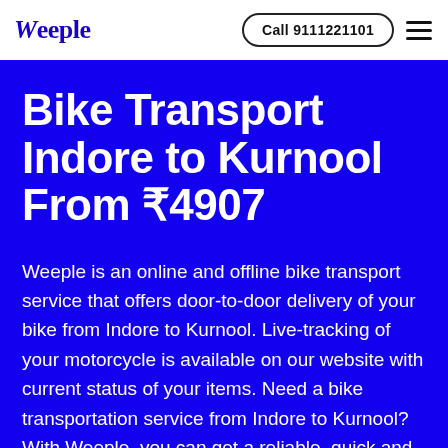Weeple   Call 9111221101
Bike Transport Indore to Kurnool From ₹4907
Weeple is an online and offline bike transport service that offers door-to-door delivery of your bike from Indore to Kurnool. Live-tracking of your motorcycle is available on our website with current status of your items. Need a bike transportation service from Indore to Kurnool? With Weeple, you can get a reliable, quick and affordable bike shifting service delivered at your